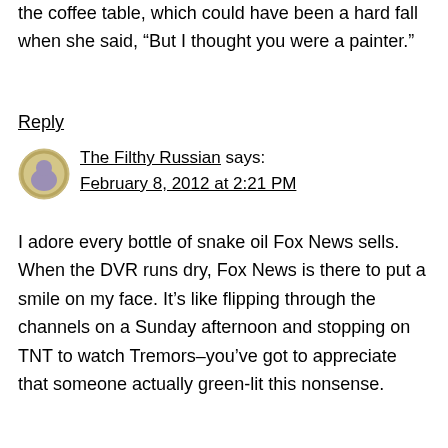the coffee table, which could have been a hard fall when she said, “But I thought you were a painter.”
Reply
The Filthy Russian says:
February 8, 2012 at 2:21 PM
[Figure (illustration): Circular avatar icon with a brownish-gold border and a stylized purple/grey figure in the center]
I adore every bottle of snake oil Fox News sells. When the DVR runs dry, Fox News is there to put a smile on my face. It’s like flipping through the channels on a Sunday afternoon and stopping on TNT to watch Tremors–you’ve got to appreciate that someone actually green-lit this nonsense.